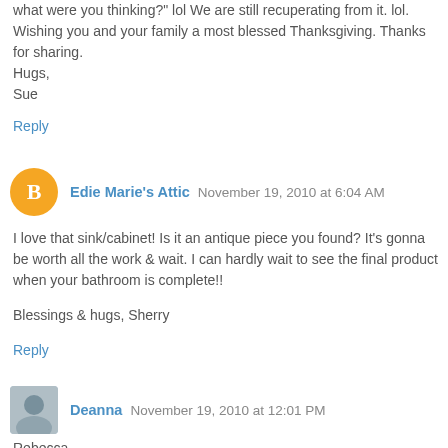what were you thinking?" lol We are still recuperating from it. lol.
Wishing you and your family a most blessed Thanksgiving. Thanks for sharing.
Hugs,
Sue
Reply
Edie Marie's Attic  November 19, 2010 at 6:04 AM
I love that sink/cabinet! Is it an antique piece you found? It's gonna be worth all the work & wait. I can hardly wait to see the final product when your bathroom is complete!!

Blessings & hugs, Sherry
Reply
Deanna  November 19, 2010 at 12:01 PM
Rebecca,
There has got to be a special powder room in heaven for